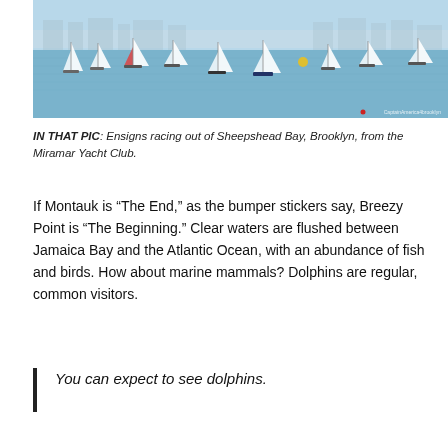[Figure (photo): Sailboats (Ensigns) racing on open water at Sheepshead Bay, Brooklyn, with white sails visible across calm blue water. A small watermark reads 'CaptainAmerica4brooklyn' in the lower right corner.]
IN THAT PIC: Ensigns racing out of Sheepshead Bay, Brooklyn, from the Miramar Yacht Club.
If Montauk is “The End,” as the bumper stickers say, Breezy Point is “The Beginning.” Clear waters are flushed between Jamaica Bay and the Atlantic Ocean, with an abundance of fish and birds. How about marine mammals? Dolphins are regular, common visitors.
You can expect to see dolphins.